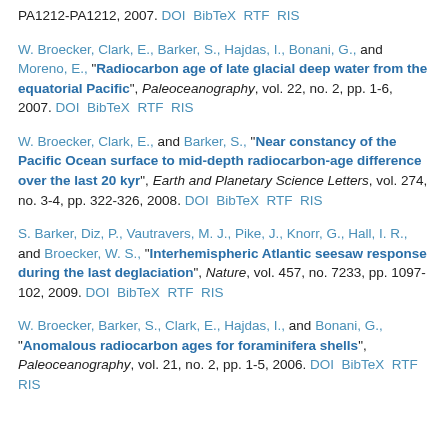PA1212-PA1212, 2007. DOI BibTeX RTF RIS
W. Broecker, Clark, E., Barker, S., Hajdas, I., Bonani, G., and Moreno, E., "Radiocarbon age of late glacial deep water from the equatorial Pacific", Paleoceanography, vol. 22, no. 2, pp. 1-6, 2007. DOI BibTeX RTF RIS
W. Broecker, Clark, E., and Barker, S., "Near constancy of the Pacific Ocean surface to mid-depth radiocarbon-age difference over the last 20 kyr", Earth and Planetary Science Letters, vol. 274, no. 3-4, pp. 322-326, 2008. DOI BibTeX RTF RIS
S. Barker, Diz, P., Vautravers, M. J., Pike, J., Knorr, G., Hall, I. R., and Broecker, W. S., "Interhemispheric Atlantic seesaw response during the last deglaciation", Nature, vol. 457, no. 7233, pp. 1097-102, 2009. DOI BibTeX RTF RIS
W. Broecker, Barker, S., Clark, E., Hajdas, I., and Bonani, G., "Anomalous radiocarbon ages for foraminifera shells", Paleoceanography, vol. 21, no. 2, pp. 1-5, 2006. DOI BibTeX RTF RIS